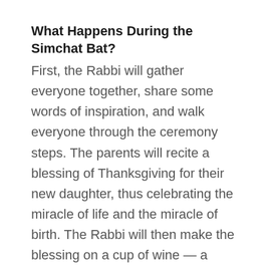What Happens During the Simchat Bat?
First, the Rabbi will gather everyone together, share some words of inspiration, and walk everyone through the ceremony steps. The parents will recite a blessing of Thanksgiving for their new daughter, thus celebrating the miracle of life and the miracle of birth. The Rabbi will then make the blessing on a cup of wine — a tradition held at all Jewish rituals. The baby will then receive her blessing and her formal baby name in Hebrew. After that, honors will be bestowed usually upon the grandparents